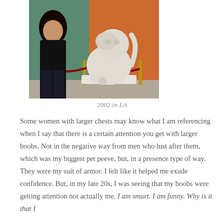[Figure (photo): A woman in a black outfit standing next to a large white marble lion (foo dog) statue, with a red rope barrier in the background. The setting appears to be an outdoor or semi-outdoor attraction.]
2002 in LA
Some women with larger chests may know what I am referencing when I say that there is a certain attention you get with larger boobs. Not in the negative way from men who lust after them, which was my biggest pet peeve, but, in a presence type of way. They were my suit of armor. I felt like it helped me exude confidence. But, in my late 20s, I was seeing that my boobs were getting attention not actually me. I am smart. I am funny. Why is it that I